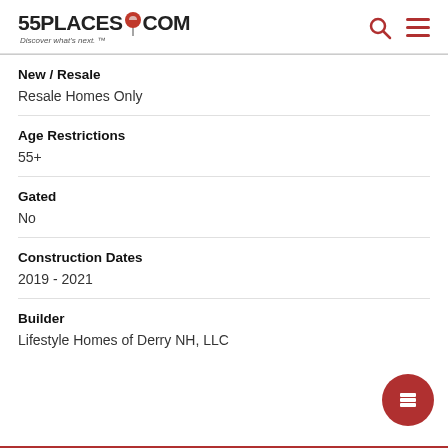55PLACES.COM — Discover what's next.
New / Resale
Resale Homes Only
Age Restrictions
55+
Gated
No
Construction Dates
2019 - 2021
Builder
Lifestyle Homes of Derry NH, LLC